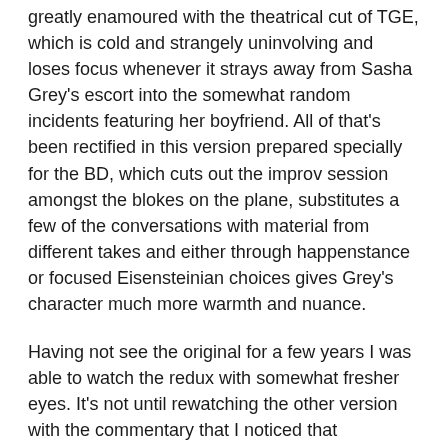greatly enamoured with the theatrical cut of TGE, which is cold and strangely uninvolving and loses focus whenever it strays away from Sasha Grey's escort into the somewhat random incidents featuring her boyfriend.  All of that's been rectified in this version prepared specially for the BD, which cuts out the improv session amongst the blokes on the plane, substitutes a few of the conversations with material from different takes and either through happenstance or focused Eisensteinian choices gives Grey's character much more warmth and nuance.
Having not see the original for a few years I was able to watch the redux with somewhat fresher eyes.  It's not until rewatching the other version with the commentary that I noticed that Soderbergh removed all the scenes touring the weekend hotel, so that the first time we see Chelsea is outside while she's receiving the bad news which makes the whole thing even more emotionally draining, especially when she says she's cold.  The director also injects a greater sense of how the treatment of the reviewing monster effects her, making her seem a touch more vulnerable but still emotionally strong.  I'm certain that if Soderbergh had made